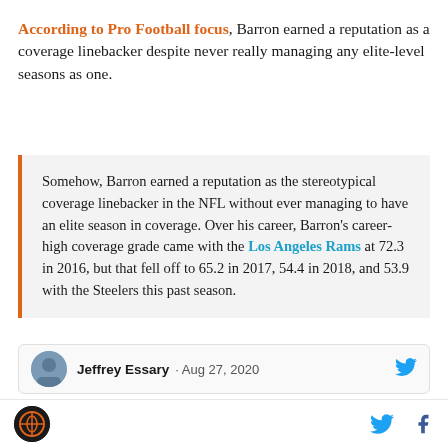According to Pro Football focus, Barron earned a reputation as a coverage linebacker despite never really managing any elite-level seasons as one.
Somehow, Barron earned a reputation as the stereotypical coverage linebacker in the NFL without ever managing to have an elite season in coverage. Over his career, Barron's career-high coverage grade came with the Los Angeles Rams at 72.3 in 2016, but that fell off to 65.2 in 2017, 54.4 in 2018, and 53.9 with the Steelers this past season.
Jeffrey Essary · Aug 27, 2020